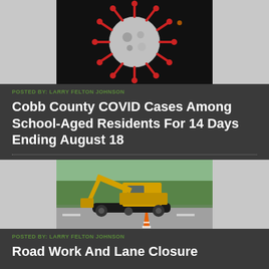[Figure (photo): COVID-19 coronavirus particle illustration — red spiky ball on dark background]
POSTED BY: LARRY FELTON JOHNSON
Cobb County COVID Cases Among School-Aged Residents For 14 Days Ending August 18
[Figure (photo): Yellow CAT excavator construction machine on a road with orange traffic cone and trees in background]
POSTED BY: LARRY FELTON JOHNSON
Road Work And Lane Closure